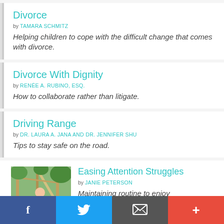Divorce
by TAMARA SCHMITZ
Helping children to cope with the difficult change that comes with divorce.
Divorce With Dignity
by RENÉE A. RUBINO, ESQ.
How to collaborate rather than litigate.
Driving Range
by DR. LAURA A. JANA AND DR. JENNIFER SHU
Tips to stay safe on the road.
[Figure (photo): Two children on a playground slide structure, outdoors with greenery in the background.]
Easing Attention Struggles
by JANIE PETERSON
Maintaining routine to enjoy
f  Twitter  Email  +